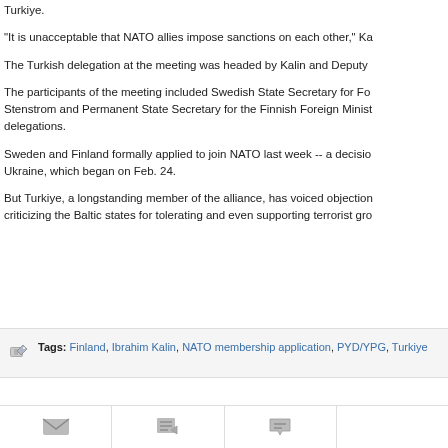Turkiye.
"It is unacceptable that NATO allies impose sanctions on each other," Ka
The Turkish delegation at the meeting was headed by Kalin and Deputy
The participants of the meeting included Swedish State Secretary for For Stenstrom and Permanent State Secretary for the Finnish Foreign Minist delegations.
Sweden and Finland formally applied to join NATO last week -- a decisio Ukraine, which began on Feb. 24.
But Turkiye, a longstanding member of the alliance, has voiced objection criticizing the Baltic states for tolerating and even supporting terrorist gro
Tags: Finland, Ibrahim Kalin, NATO membership application, PYD/YPG, Turkiye